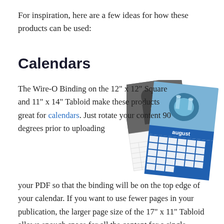For inspiration, here are a few ideas for how these products can be used:
Calendars
The Wire-O Binding on the 12" x 12" Square and 11" x 14" Tabloid make these products great for calendars. Just rotate your content 90 degrees prior to uploading your PDF so that the binding will be on the top edge of your calendar. If you want to use fewer pages in your publication, the larger page size of the 17" x 11" Tabloid allows enough space for all the content for a single month to fit on a single page, making a tall and
[Figure (photo): Two overlapping calendar images: one black-and-white photo calendar showing a couple at a wedding with 'august' label and grid, and one colorful calendar with a food/drink photo and 'august' header with a blue grid.]